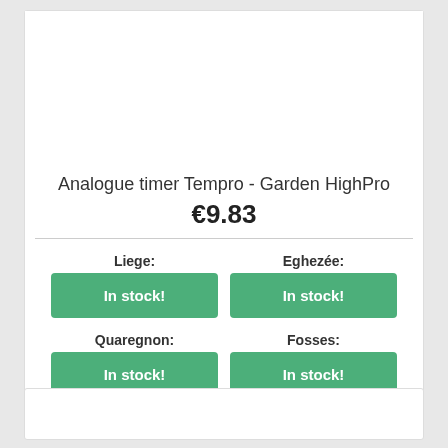Analogue timer Tempro - Garden HighPro
€9.83
| Liege: | Eghezée: |
| --- | --- |
| In stock! | In stock! |
| Quaregnon: | Fosses: |
| In stock! | In stock! |